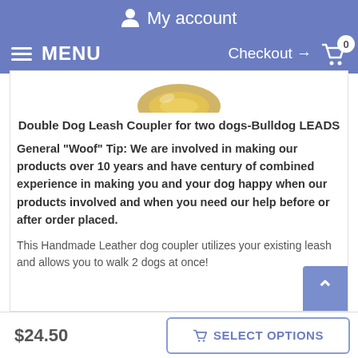My account
MENU  Checkout → 0
[Figure (photo): Partial product image showing a gold/metallic ring or clip from a dog leash coupler]
Double Dog Leash Coupler for two dogs-Bulldog LEADS
General "Woof" Tip: We are involved in making our products over 10 years and have century of combined experience in making you and your dog happy when our products involved and when you need our help before or after order placed.
This Handmade Leather dog coupler utilizes your existing leash and allows you to walk 2 dogs at once!
$24.50
SELECT OPTIONS